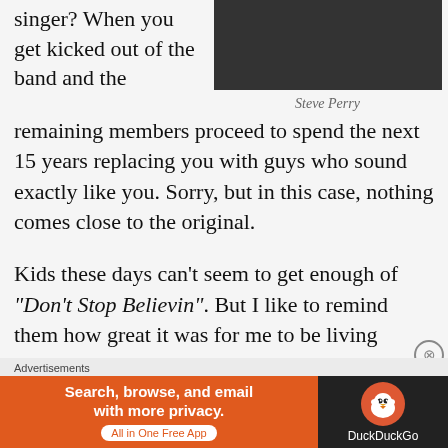singer? When you get kicked out of the band and the remaining members proceed to spend the next 15 years replacing you with guys who sound exactly like you. Sorry, but in this case, nothing comes close to the original.
[Figure (photo): Dark photo of a performer on stage, possibly a singer with a microphone]
Steve Perry
Kids these days can't seem to get enough of “Don’t Stop Believin”. But I like to remind them how great it was for me to be living during the years when songs like “Any Way You Want It”,
[Figure (infographic): Advertisement banner: DuckDuckGo - Search, browse, and email with more privacy. All in One Free App]
Advertisements